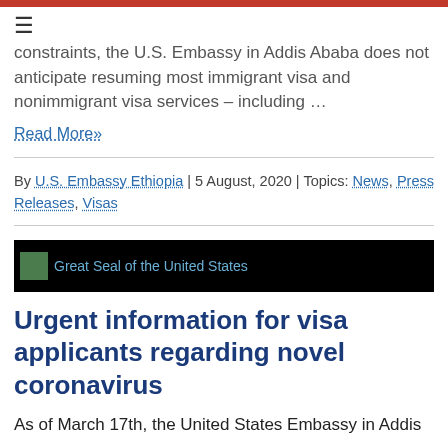constraints, the U.S. Embassy in Addis Ababa does not anticipate resuming most immigrant visa and nonimmigrant visa services – including …
Read More»
By U.S. Embassy Ethiopia | 5 August, 2020 | Topics: News, Press Releases, Visas
[Figure (photo): Great Seal of the United States banner image on black background]
Urgent information for visa applicants regarding novel coronavirus
As of March 17th, the United States Embassy in Addis